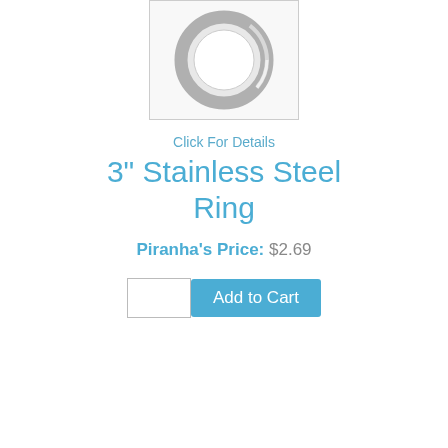[Figure (photo): Product photo of a stainless steel ring viewed from slight angle, showing circular metal ring with smooth interior and textured/ridged outer edge, on white background]
Click For Details
3" Stainless Steel Ring
Piranha's Price: $2.69